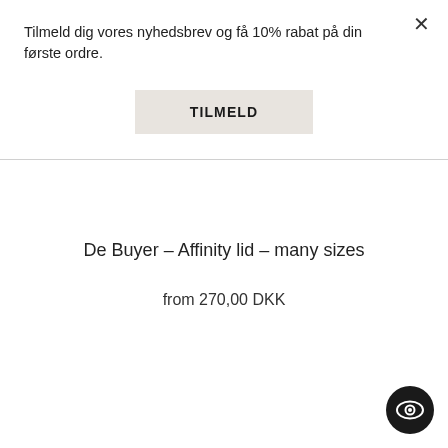Tilmeld dig vores nyhedsbrev og få 10% rabat på din første ordre.
×
TILMELD
De Buyer – Affinity lid – many sizes
from 270,00 DKK
[Figure (logo): Eye icon badge in a dark circular button at bottom right]